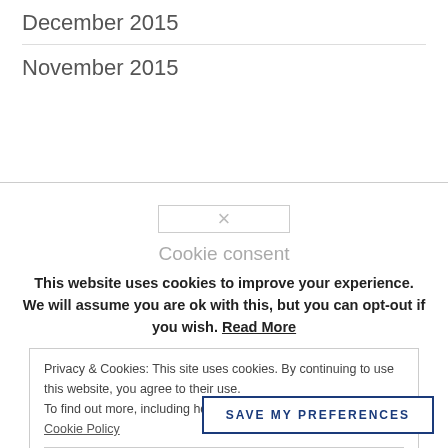December 2015
November 2015
[Figure (screenshot): Cookie consent modal dialog overlaying the page. Contains a close icon (×), the title 'Cookie consent', body text about cookies, a privacy info box with Cookie Policy link, a 'Close and accept' button, and a 'SAVE MY PREFERENCES' button.]